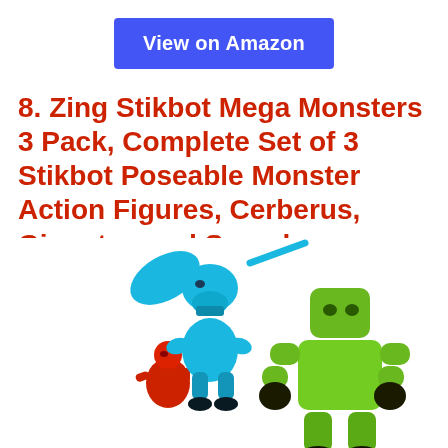View on Amazon
8. Zing Stikbot Mega Monsters 3 Pack, Complete Set of 3 Stikbot Poseable Monster Action Figures, Cerberus, Gigantus and Scorch
[Figure (photo): Three Stikbot Mega Monster action figures: a blue triceratops-style monster (Cerberus), a small red figure partially visible (Scorch), and a large green robotic figure (Gigantus), posed on a white background.]